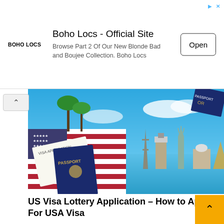[Figure (other): Advertisement banner: Boho Locs Official Site with Open button]
[Figure (photo): Composite travel photo: passport, visa application form on US flag on left; world landmarks (Eiffel Tower, Big Ben, Statue of Liberty, pyramids, Capitol) on blue water on right; passport corner visible top right]
US Visa Lottery Application – How to Apply For USA Visa
[Figure (photo): US passport on American flag on left; Statue of Liberty with American flag on right; yellow scroll-to-top button bottom right]